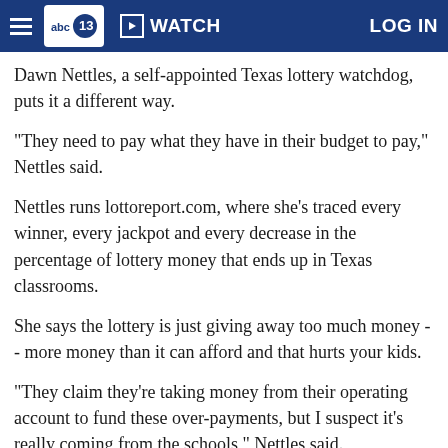abc13 WATCH LOG IN
Dawn Nettles, a self-appointed Texas lottery watchdog, puts it a different way.
"They need to pay what they have in their budget to pay," Nettles said.
Nettles runs lottoreport.com, where she's traced every winner, every jackpot and every decrease in the percentage of lottery money that ends up in Texas classrooms.
She says the lottery is just giving away too much money -- more money than it can afford and that hurts your kids.
"They claim they're taking money from their operating account to fund these over-payments, but I suspect it's really coming from the schools," Nettles said.